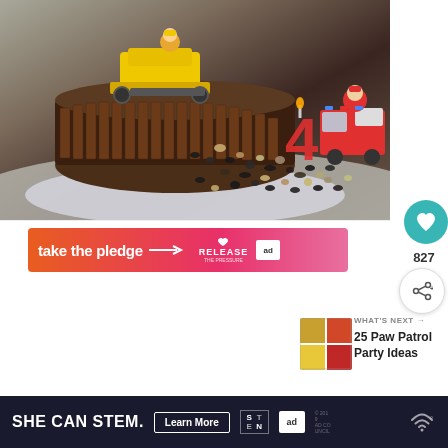[Figure (photo): Birthday cake decorated with Kit Kat bars around the sides, topped with a yellow toy bulldozer (Rubble from Paw Patrol) and a red number 4 candle, with colorful candy rocks spilling out, on a silver board.]
[Figure (infographic): Advertisement banner with gradient orange-pink background reading 'take the pledge' with an arrow, Release the Pressure logo, and ad council square logo.]
827
[Figure (photo): Thumbnail image for '25 Paw Patrol Party Ideas' showing a 2x2 grid of party-themed images.]
WHAT'S NEXT →
25 Paw Patrol Party Ideas
[Figure (infographic): Bottom banner advertisement: dark navy background with text 'SHE CAN STEM.' in bold white, 'Learn More' button, STEM logo grid, Ad Council logo, small copyright text, and WiFi/signal icon on the right.]